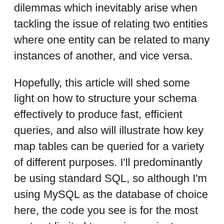dilemmas which inevitably arise when tackling the issue of relating two entities where one entity can be related to many instances of another, and vice versa.
Hopefully, this article will shed some light on how to structure your schema effectively to produce fast, efficient queries, and also will illustrate how key map tables can be queried for a variety of different purposes. I'll predominantly be using standard SQL, so although I'm using MySQL as the database of choice here, the code you see is for the most part not limited to running on just MySQL. In this first part, we'll review the concepts involved in many-to-many relationships, and discuss the most common methods for use in storing the data composing the relationship. In the second part of